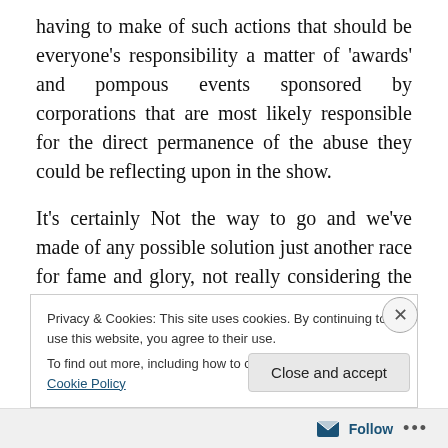having to make of such actions that should be everyone's responsibility a matter of ‘awards’ and pompous events sponsored by corporations that are most likely responsible for the direct permanence of the abuse they could be reflecting upon in the show.
It’s certainly Not the way to go and we’ve made of any possible solution just another race for fame and glory, not really considering the whole picture that is ourselves as well.
Privacy & Cookies: This site uses cookies. By continuing to use this website, you agree to their use.
To find out more, including how to control cookies, see here: Cookie Policy
Close and accept
Follow ...